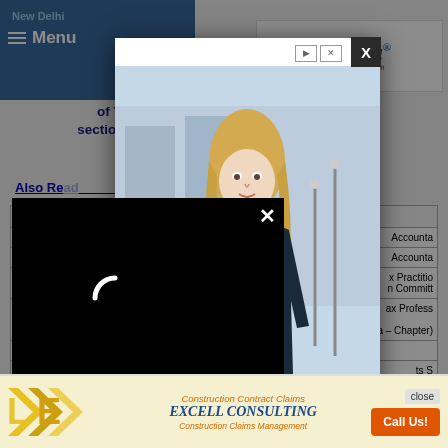New Delhi | Menu | TaxGuru - Complete Tax Solution
Download Request for roll-back provisions of Tax Collection at Source (TCS) under section 206C (1H) of the Income Tax Act, 1961
Also Read:-
| S. No. | Date | Description |
| --- | --- | --- |
| 1. |  | Accounta... |
| 2. |  | Accounta... |
| 3. |  | x Practitio... n Committ... |
| 4. |  | ax Profess... (Haryana – Chapter) |
| 5. | 24/09/2020 | Zalawad Federation of Trade & Ind... |
| 6. |  | ts S... |
[Figure (photo): Advertisement modal popup showing a woman standing with a book, ad controls visible]
[Figure (screenshot): Video player popup showing black screen with loading spinner and X close button]
[Figure (other): Bottom banner advertisement for Excell Consulting - Construction Contract Claims with orange Call Us button]